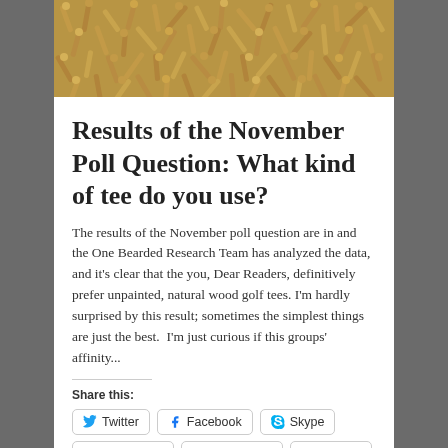[Figure (photo): Pile of unpainted natural wood golf tees photographed from above, filling the top portion of the page.]
Results of the November Poll Question: What kind of tee do you use?
The results of the November poll question are in and the One Bearded Research Team has analyzed the data, and it’s clear that the you, Dear Readers, definitively prefer unpainted, natural wood golf tees. I’m hardly surprised by this result; sometimes the simplest things are just the best. I’m just curious if this groups’ affinity...
Share this:
Twitter  Facebook  Skype